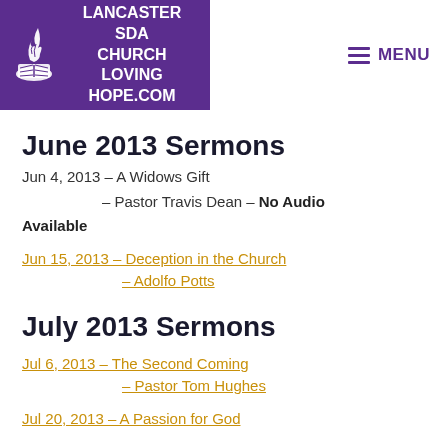Lancaster SDA Church Loving Hope.com | MENU
June 2013 Sermons
Jun 4, 2013 – A Widows Gift
– Pastor Travis Dean – No Audio Available
Jun 15, 2013 – Deception in the Church – Adolfo Potts
July 2013 Sermons
Jul 6, 2013 – The Second Coming – Pastor Tom Hughes
Jul 20, 2013 – A Passion for God